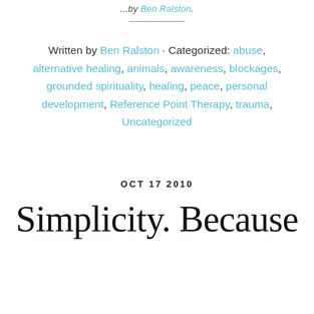...by Ben Ralston · Categorized:
Written by Ben Ralston · Categorized: abuse, alternative healing, animals, awareness, blockages, grounded spirituality, healing, peace, personal development, Reference Point Therapy, trauma, Uncategorized
OCT 17 2010
Simplicity. Because